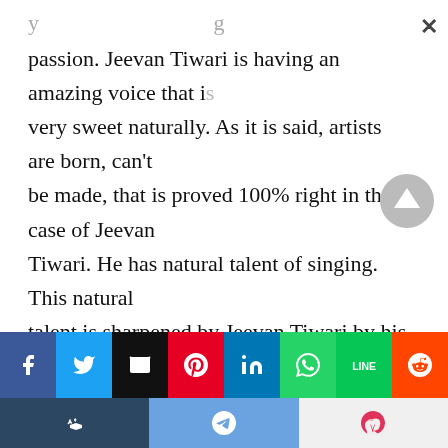...y...g passion. Jeevan Tiwari is having an amazing voice that is very sweet naturally. As it is said, artists are born, can't be made, that is proved 100% right in the case of Jeevan Tiwari. He has natural talent of singing. This natural talent is sharpened by Jeevan Tiwari by his efforts. His constant efforts have sharpened his talent of singing in such a manner that listeners forget their stress, on hearing the sweet voice of Jeevan Tiwari.
[Figure (infographic): Social media sharing buttons bar: Facebook, Twitter, Email, Pinterest, LinkedIn, WhatsApp, Line, Reddit (top row); Tumblr, Telegram, Pocket (bottom row)]